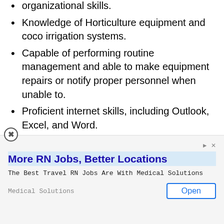organizational skills.
Knowledge of Horticulture equipment and coco irrigation systems.
Capable of performing routine management and able to make equipment repairs or notify proper personnel when unable to.
Proficient internet skills, including Outlook, Excel, and Word.
Ability to plan ahead, trouble-shoot, anticipate problems, and problem solve.
Ability to prioritize and manage multiple tasks at a time.
Ability to learn new technologies.
[Figure (other): Advertisement overlay: More RN Jobs, Better Locations - Medical Solutions. The Best Travel RN Jobs Are With Medical Solutions. Open button.]